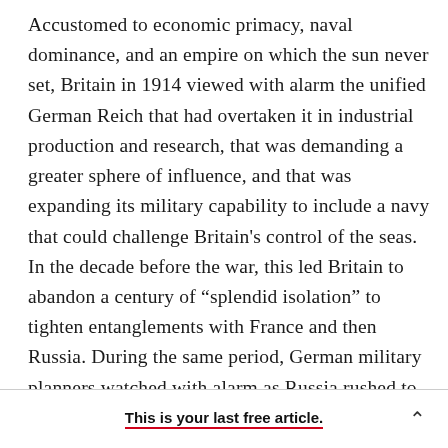Accustomed to economic primacy, naval dominance, and an empire on which the sun never set, Britain in 1914 viewed with alarm the unified German Reich that had overtaken it in industrial production and research, that was demanding a greater sphere of influence, and that was expanding its military capability to include a navy that could challenge Britain's control of the seas. In the decade before the war, this led Britain to abandon a century of “splendid isolation” to tighten entanglements with France and then Russia. During the same period, German military planners watched with alarm as Russia rushed to complete
This is your last free article.